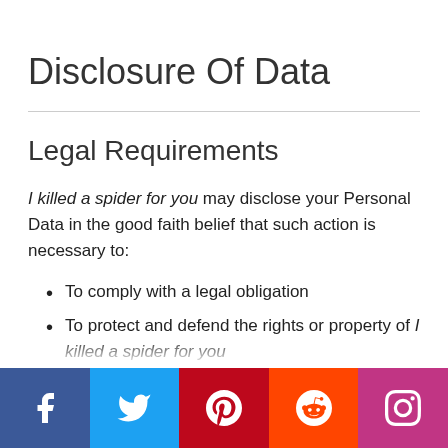Disclosure Of Data
Legal Requirements
I killed a spider for you may disclose your Personal Data in the good faith belief that such action is necessary to:
To comply with a legal obligation
To protect and defend the rights or property of I killed a spider for you
To prevent or investigate possible wrongdoing in